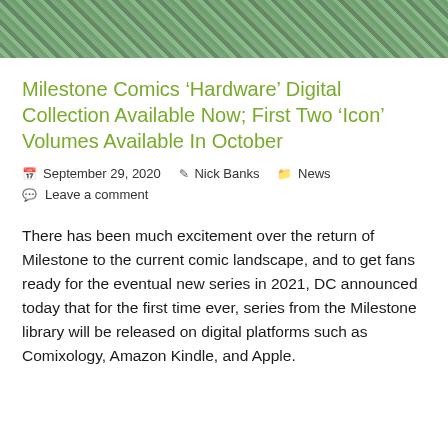[Figure (illustration): Comic book artwork strip at the top of the page showing colorful comic characters]
Milestone Comics ‘Hardware’ Digital Collection Available Now; First Two ‘Icon’ Volumes Available In October
September 29, 2020   Nick Banks   News   Leave a comment
There has been much excitement over the return of Milestone to the current comic landscape, and to get fans ready for the eventual new series in 2021, DC announced today that for the first time ever, series from the Milestone library will be released on digital platforms such as Comixology, Amazon Kindle, and Apple.